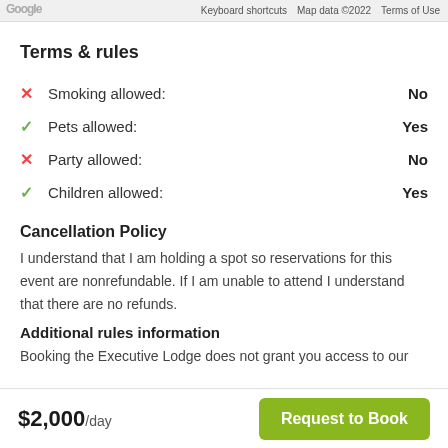Keyboard shortcuts   Map data ©2022   Terms of Use
Terms & rules
✗ Smoking allowed:   No
✓ Pets allowed:   Yes
✗ Party allowed:   No
✓ Children allowed:   Yes
Cancellation Policy
I understand that I am holding a spot so reservations for this event are nonrefundable. If I am unable to attend I understand that there are no refunds.
Additional rules information
Booking the Executive Lodge does not grant you access to our
$2,000/day   Request to Book